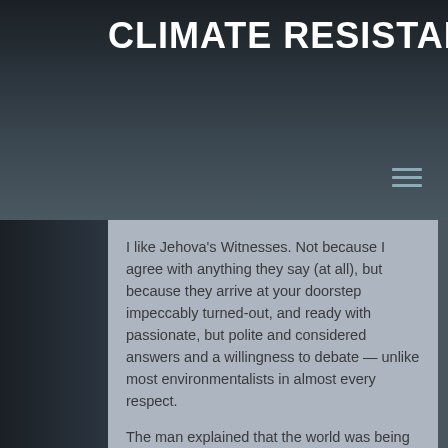CLIMATE RESISTANCE
I like Jehova's Witnesses. Not because I agree with anything they say (at all), but because they arrive at your doorstep impeccably turned-out, and ready with passionate, but polite and considered answers and a willingness to debate — unlike most environmentalists in almost every respect.
The man explained that the world was being destroyed. 'Oh, I think it's getting better all the time', I said. 'What about all the oil spills', he asked. 'Well, they're local problems, and they get cleaned up. Meanwhile, we get better and better at looking after ourselves'. I suggested that Jehova's Witnesses should be encouraging a discussion about how to get more oil out of the ground, faster, if they want to help